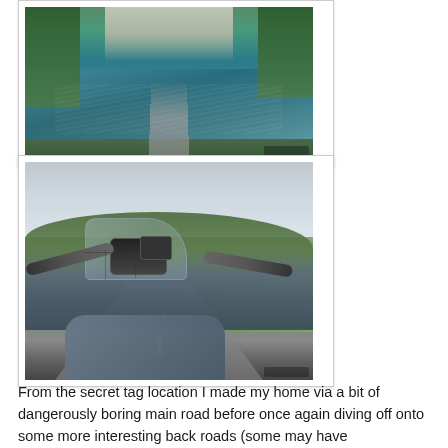[Figure (photo): Aerial or elevated view of a winding road next to a blue-green river, surrounded by trees and a white cliff or quarry face in the background.]
[Figure (photo): View from a motorcycle cockpit showing handlebars and instrument cluster, with a curving rural road ahead, green grassy banks, trees in the background, and an overcast sky.]
From the secret tag location I made my home via a bit of dangerously boring main road before once again diving off onto some more interesting back roads (some may have